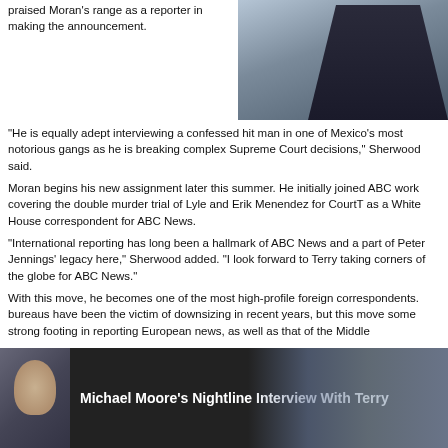praised Moran's range as a reporter in making the announcement.
[Figure (photo): Man in dark suit with red tie, portrait photo cropped at top]
"He is equally adept interviewing a confessed hit man in one of Mexico's most notorious gangs as he is breaking complex Supreme Court decisions," Sherwood said.
Moran begins his new assignment later this summer. He initially joined ABC work covering the double murder trial of Lyle and Erik Menendez for CourtT as a White House correspondent for ABC News.
"International reporting has long been a hallmark of ABC News and a part of Peter Jennings' legacy here," Sherwood added. "I look forward to Terry taking corners of the globe for ABC News."
With this move, he becomes one of the most high-profile foreign correspondents. bureaus have been the victim of downsizing in recent years, but this move some strong footing in reporting European news, as well as that of the Middle
Dan Abrams, who works on ABC News as a legal analyst, will be "replacing the new title of ABC News chief legal affairs anchor. With this move, he will company Abrams Media.
If you are unfamiliar with Moran, here is video of him interviewing Michael M
[Figure (screenshot): Video thumbnail showing Michael Moore's Nightline Interview With Terry, with a woman's face visible on the left side and flags in the background]